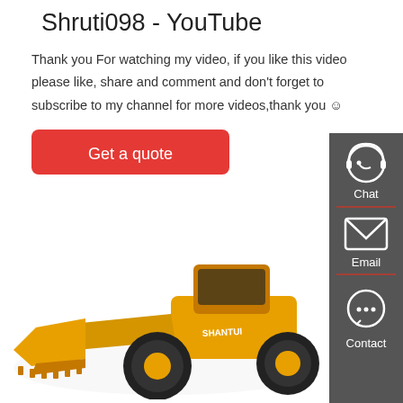Shruti098 - YouTube
Thank you For watching my video, if you like this video please like, share and comment and don't forget to subscribe to my channel for more videos,thank you ☺
[Figure (other): Red rounded rectangle button with white text 'Get a quote']
[Figure (other): Dark grey sidebar with Chat (headset icon), Email (envelope icon), and Contact (speech bubble icon) options, separated by red horizontal lines]
[Figure (photo): Yellow Shantui wheel loader / front loader construction machine on white background]